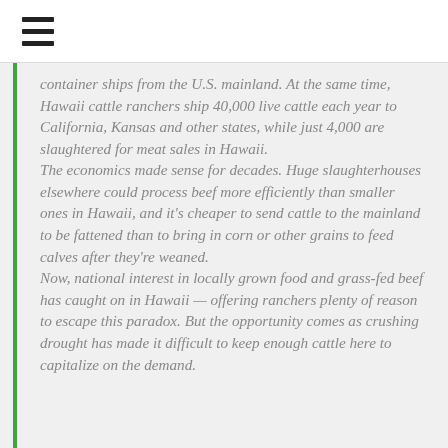≡
container ships from the U.S. mainland. At the same time, Hawaii cattle ranchers ship 40,000 live cattle each year to California, Kansas and other states, while just 4,000 are slaughtered for meat sales in Hawaii.
The economics made sense for decades. Huge slaughterhouses elsewhere could process beef more efficiently than smaller ones in Hawaii, and it's cheaper to send cattle to the mainland to be fattened than to bring in corn or other grains to feed calves after they're weaned.
Now, national interest in locally grown food and grass-fed beef has caught on in Hawaii — offering ranchers plenty of reason to escape this paradox. But the opportunity comes as crushing drought has made it difficult to keep enough cattle here to capitalize on the demand.